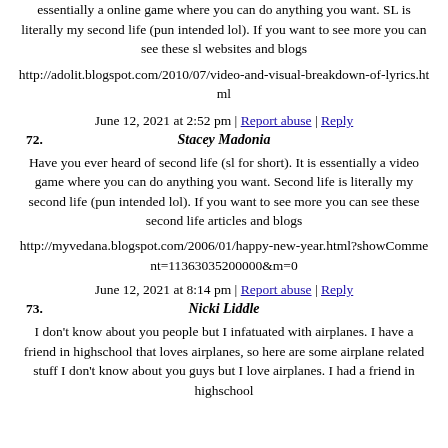essentially a online game where you can do anything you want. SL is literally my second life (pun intended lol). If you want to see more you can see these sl websites and blogs
http://adolit.blogspot.com/2010/07/video-and-visual-breakdown-of-lyrics.html
June 12, 2021 at 2:52 pm | Report abuse | Reply
72. Stacey Madonia
Have you ever heard of second life (sl for short). It is essentially a video game where you can do anything you want. Second life is literally my second life (pun intended lol). If you want to see more you can see these second life articles and blogs
http://myvedana.blogspot.com/2006/01/happy-new-year.html?showComment=11363035200000&m=0
June 12, 2021 at 8:14 pm | Report abuse | Reply
73. Nicki Liddle
I don't know about you people but I infatuated with airplanes. I have a friend in highschool that loves airplanes, so here are some airplane related stuff I don't know about you guys but I love airplanes. I had a friend in highschool